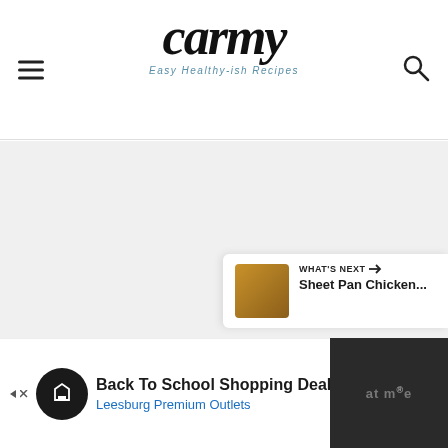[Figure (logo): Carmy blog logo with script font and tagline 'Easy Healthy-ish Recipes']
[Figure (other): Gray empty content area]
[Figure (other): Social sidebar with heart/like button (teal circle), count '6', and share button]
[Figure (other): What's Next panel showing 'Sheet Pan Chicken...' with thumbnail]
[Figure (other): Advertisement bar: Back To School Shopping Deals - Leesburg Premium Outlets]